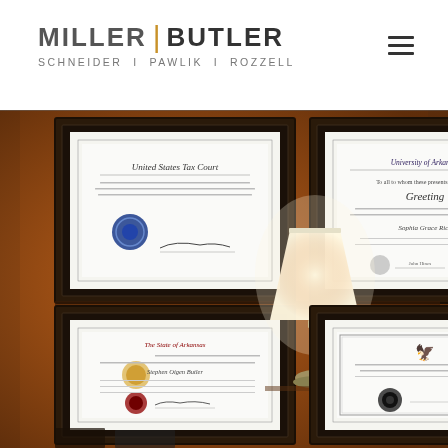[Figure (logo): Miller Butler Schneider Pawlik Rozzell law firm logo with orange pipe separator]
[Figure (photo): Interior office wall photo showing four framed legal certificates and diplomas including United States Tax Court, University of Arkansas, The State of Arkansas bar admission, and another certificate, with a table lamp in foreground]